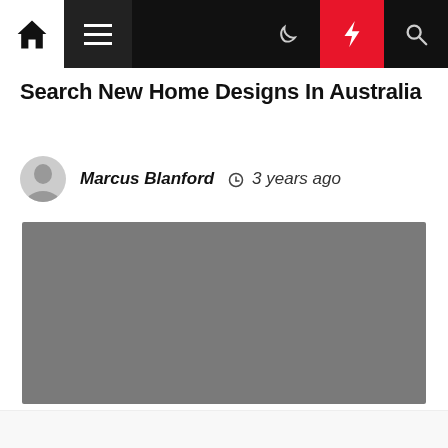Navigation bar with home, menu, moon, bolt, and search icons
Search New Home Designs In Australia
Marcus Blanford  3 years ago
[Figure (photo): Grey placeholder image for article content]
Design